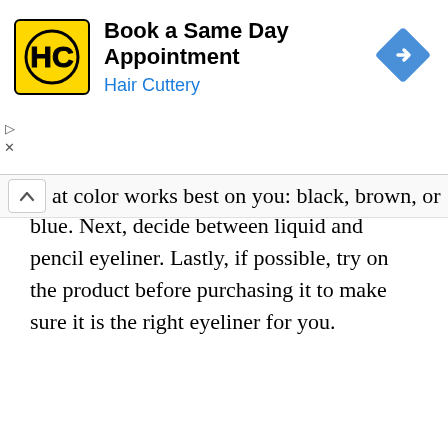[Figure (screenshot): Hair Cuttery advertisement banner with yellow HC logo, 'Book a Same Day Appointment' title, 'Hair Cuttery' subtitle in blue, and a blue diamond-shaped directions icon on the right. Small play and close controls on the left.]
at color works best on you: black, brown, or blue. Next, decide between liquid and pencil eyeliner. Lastly, if possible, try on the product before purchasing it to make sure it is the right eyeliner for you.